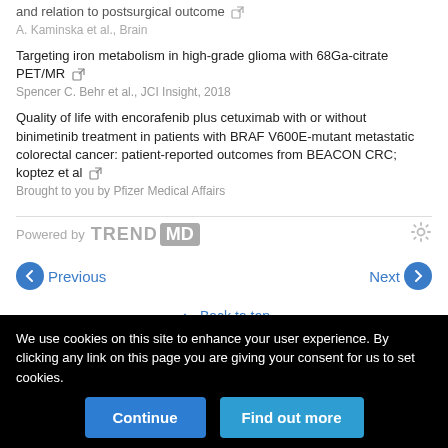and relation to postsurgical outcome
A. Kaminska et al., Brain
Targeting iron metabolism in high-grade glioma with 68Ga-citrate PET/MR
Spencer C. Behr et al., JCI Insight, 2018
Quality of life with encorafenib plus cetuximab with or without binimetinib treatment in patients with BRAF V600E-mutant metastatic colorectal cancer: patient-reported outcomes from BEACON CRC; koptez et al
Brought to you by Pfizer Medical Affairs
Powered by TREND MD
Previous
Next
Back to top
We use cookies on this site to enhance your user experience. By clicking any link on this page you are giving your consent for us to set cookies.
Continue
Find out more